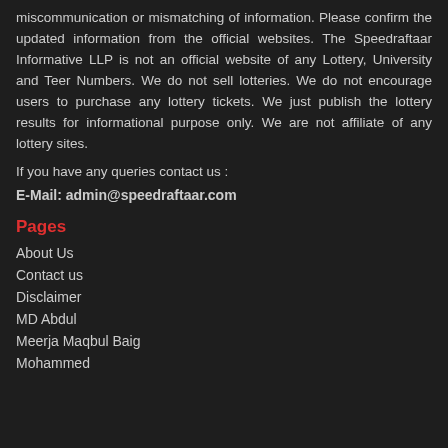miscommunication or mismatching of information. Please confirm the updated information from the official websites. The Speedraftaar Informative LLP is not an official website of any Lottery, University and Teer Numbers. We do not sell lotteries. We do not encourage users to purchase any lottery tickets. We just publish the lottery results for informational purpose only. We are not affiliate of any lottery sites.
If you have any queries contact us :
E-Mail: admin@speedraftaar.com
Pages
About Us
Contact us
Disclaimer
MD Abdul
Meerja Maqbul Baig
Mohammed